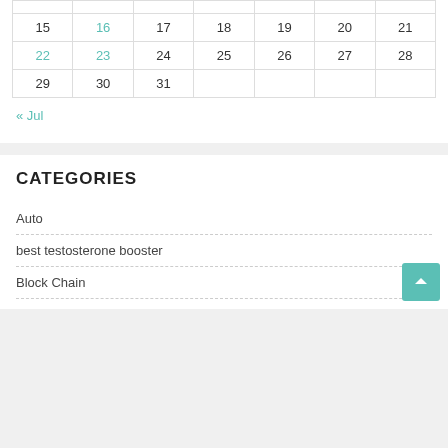| S | M | T | W | T | F | S |
| --- | --- | --- | --- | --- | --- | --- |
|  |  |  |  |  |  |  |
| 15 | 16 | 17 | 18 | 19 | 20 | 21 |
| 22 | 23 | 24 | 25 | 26 | 27 | 28 |
| 29 | 30 | 31 |  |  |  |  |
« Jul
CATEGORIES
Auto
best testosterone booster
Block Chain